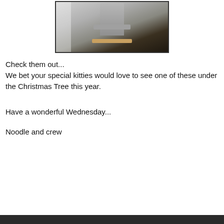[Figure (photo): Photo of a cat tree/scratching post with a cat on it, placed on a dark hardwood floor near white walls.]
Check them out...
We bet your special kitties would love to see one of these under the Christmas Tree this year.
Have a wonderful Wednesday...
Noodle and crew